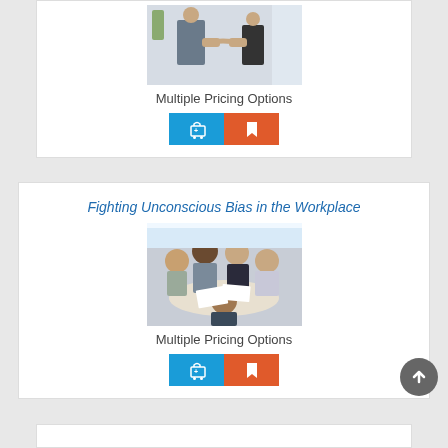[Figure (photo): Two people shaking hands in a professional setting (top card, partial view)]
Multiple Pricing Options
[Figure (other): Blue cart button and red bookmark button]
Fighting Unconscious Bias in the Workplace
[Figure (photo): Group of diverse professionals sitting around a table collaborating]
Multiple Pricing Options
[Figure (other): Blue cart button and red bookmark button]
[Figure (other): Back to top arrow button (circular gray)]